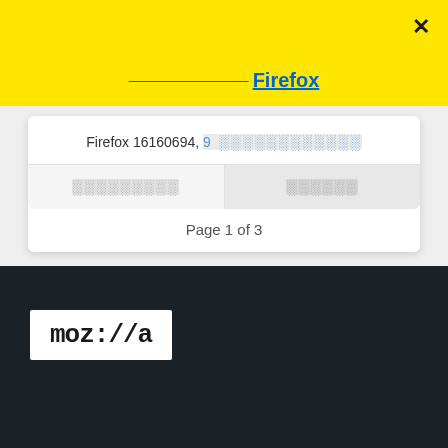Firefox
Firefox 16160694, 9 [blurred text]
[blurred button] [blurred button]
Page 1 of 3
[Figure (logo): Mozilla logo on white background inside dark section]
[blurred footer text]